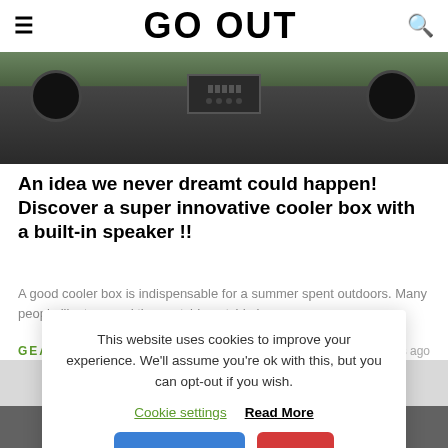GO OUT
[Figure (photo): Close-up photo of a black portable speaker/cooler box device against a green outdoor background]
An idea we never dreamt could happen! Discover a super innovative cooler box with a built-in speaker !!
A good cooler box is indispensable for a summer spent outdoors. Many people like to spend time outside outside becau...
GEAR   11 months ago
This website uses cookies to improve your experience. We'll assume you're ok with this, but you can opt-out if you wish.
Cookie settings   Read More
ACCEPT   NG